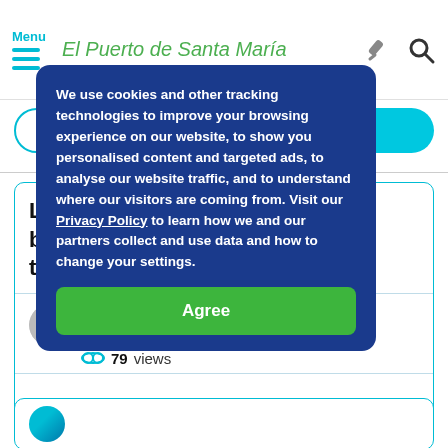Menu — El Puerto de Santa Maria
Login
Sign up
Late… buy… in the…
In Chiclana de la Frontera
4 replies
79 views
[Figure (screenshot): Cookie consent modal overlay with dark blue background. Text: We use cookies and other tracking technologies to improve your browsing experience on our website, to show you personalised content and targeted ads, to analyse our website traffic, and to understand where our visitors are coming from. Visit our Privacy Policy to learn how we and our partners collect and use data and how to change your settings. Green Agree button at bottom.]